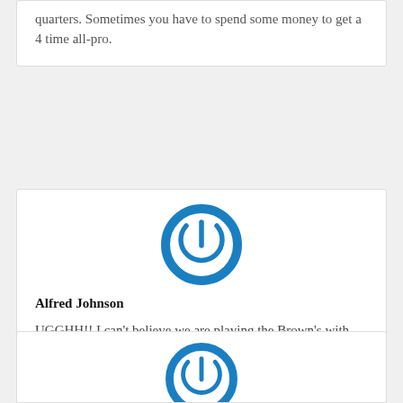quarters. Sometimes you have to spend some money to get a 4 time all-pro.
[Figure (logo): Blue circular power button icon - user avatar for Alfred Johnson]
Alfred Johnson
UGGHH!! I can't believe we are playing the Brown's with one arm tied behind our backs😔 Yo!! On better news Bart Scott has a great radio show on WFAN talks Jets & Mets show is hot.
[Figure (logo): Blue circular power button icon - user avatar for second user]